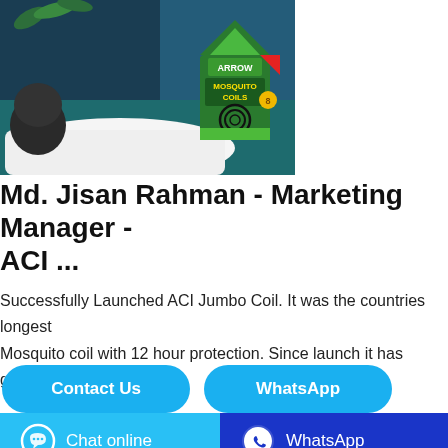[Figure (photo): Photo of a green box of Arrow Mosquito Coils placed on white fabric on a teal surface, with a dark wall and plant in the background]
Md. Jisan Rahman - Marketing Manager - ACI ...
Successfully Launched ACI Jumbo Coil. It was the countries longest Mosquito coil with 12 hour protection. Since launch it has gained...
Contact Us
WhatsApp
Chat online
WhatsApp